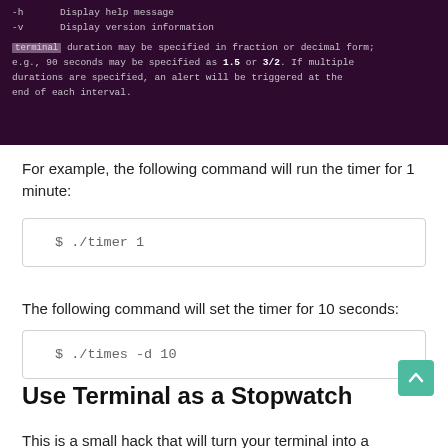[Figure (screenshot): Terminal window showing command flags: -h Display help message, -v Display version information, followed by text explaining duration may be specified in fraction or decimal form; e.g., 90 seconds may be specified as 1.5 or 3/2. If multiple durations are specified, an alert will be triggered at the end of each interval.]
For example, the following command will run the timer for 1 minute:
$ ./timer 1
The following command will set the timer for 10 seconds:
$ ./times -d 10
Use Terminal as a Stopwatch
This is a small hack that will turn your terminal into a